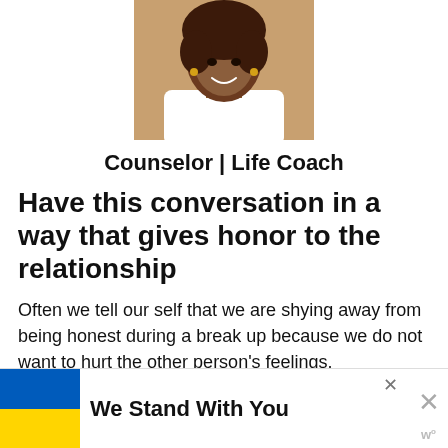[Figure (photo): Portrait photo of a Black woman with curly brown hair, wearing a white top, smiling, cropped at shoulders]
Counselor | Life Coach
Have this conversation in a way that gives honor to the relationship
Often we tell our self that we are shying away from being honest during a break up because we do not want to hurt the other person's feelings. Maybe we do not want them to be
[Figure (infographic): Ad banner: Ukraine flag (blue and yellow) on the left, bold text 'We Stand With You', close X buttons, w superscript logo]